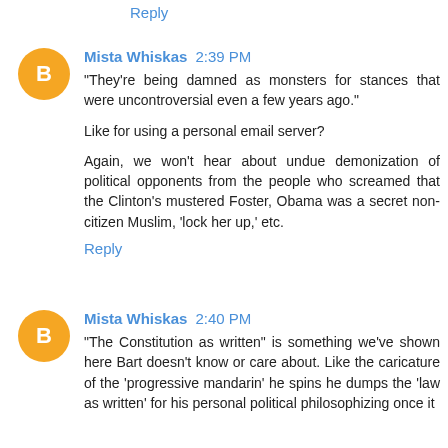Reply
Mista Whiskas 2:39 PM
"They're being damned as monsters for stances that were uncontroversial even a few years ago."

Like for using a personal email server?

Again, we won't hear about undue demonization of political opponents from the people who screamed that the Clinton's mustered Foster, Obama was a secret non-citizen Muslim, 'lock her up,' etc.
Reply
Mista Whiskas 2:40 PM
"The Constitution as written" is something we've shown here Bart doesn't know or care about. Like the caricature of the 'progressive mandarin' he spins he dumps the 'law as written' for his personal political philosophizing once it...